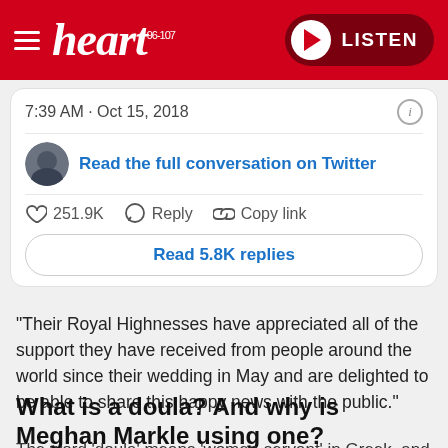heart 96-107 | LISTEN
[Figure (screenshot): Embedded tweet card showing timestamp 7:39 AM · Oct 15, 2018, a link to read the full conversation on Twitter, 251.9K likes, Reply, Copy link actions, and a Read 5.8K replies button]
"Their Royal Highnesses have appreciated all of the support they have received from people around the world since their wedding in May and are delighted to be able to share this happy news with the public."
What is a doula? And why is Meghan Markle using one?
The word 'doula' means 'women-servant' in Greek, and they